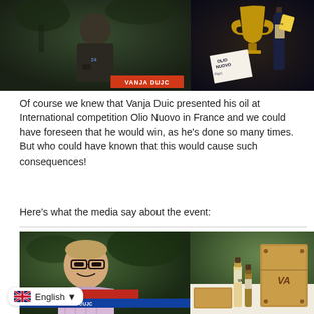[Figure (photo): Two-panel image: left shows man (VANJA DUJC name tag) on TV, right shows award/trophies with Olio Nuovo branding]
Of course we knew that Vanja Duic presented his oil at International competition Olio Nuovo in France and we could have foreseen that he would win, as he's done so many times. But who could have known that this would cause such consequences!
Here's what the media say about the event:
[Figure (photo): Two-panel image: left shows Vanja Dujc smiling outdoors with TV news lower thirds (OLJE JE SLOVENSKO), right shows olive oil bottles and wooden gift boxes with VA branding]